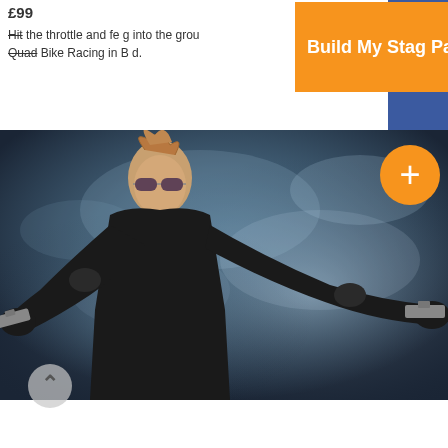£99
Hit the throttle and feel... into the ground. Quad Bike Racing in B... ed.
Build My Stag Party
[Figure (photo): Woman in black outfit with sunglasses holding two pistols crossed, smoke background]
Shooting Plus
£60